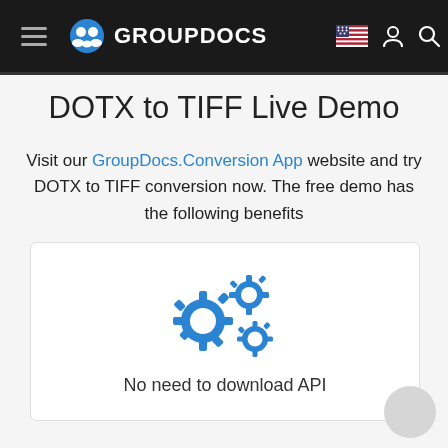GROUPDOCS
DOTX to TIFF Live Demo
Visit our GroupDocs.Conversion App website and try DOTX to TIFF conversion now. The free demo has the following benefits
[Figure (illustration): Two blue gear icons representing API/processing functionality, with text 'No need to download API' below]
No need to download API